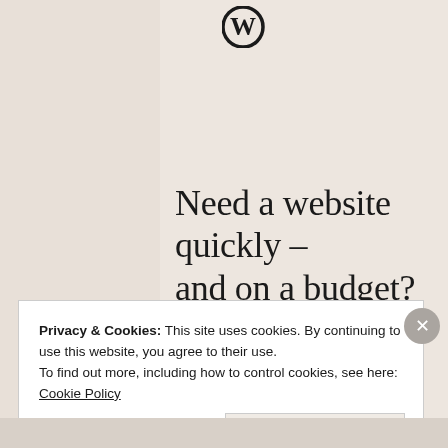[Figure (logo): WordPress circular logo (W in circle) at top of beige card]
Need a website quickly – and on a budget?
Let us build it for you
Let's get started
Privacy & Cookies: This site uses cookies. By continuing to use this website, you agree to their use.
To find out more, including how to control cookies, see here: Cookie Policy
Close and accept